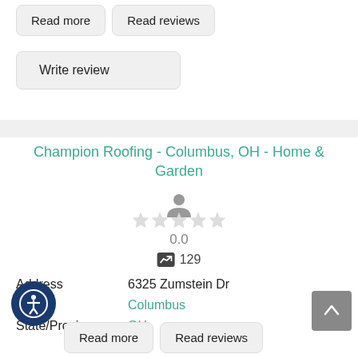Read more | Read reviews
Write review
Champion Roofing - Columbus, OH - Home & Garden
[Figure (illustration): Person icon (silhouette) in gray]
[Figure (illustration): 5 empty/gray star rating icons]
0.0
129
Address   6325 Zumstein Dr
City   Columbus
State/Province   OH
[Figure (illustration): Accessibility icon - person in circle, dark blue]
[Figure (illustration): Scroll to top button - upward arrow on gray background]
Read more | Read reviews